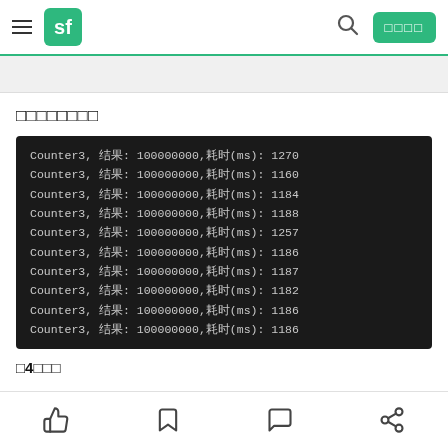sf [navigation bar with search and login button]
□□□□□□□□
Counter3, 结果: 100000000,耗时(ms): 1270
Counter3, 结果: 100000000,耗时(ms): 1160
Counter3, 结果: 100000000,耗时(ms): 1184
Counter3, 结果: 100000000,耗时(ms): 1188
Counter3, 结果: 100000000,耗时(ms): 1257
Counter3, 结果: 100000000,耗时(ms): 1186
Counter3, 结果: 100000000,耗时(ms): 1187
Counter3, 结果: 100000000,耗时(ms): 1182
Counter3, 结果: 100000000,耗时(ms): 1186
Counter3, 结果: 100000000,耗时(ms): 1186
□4□□□
[like] [bookmark] [comment] [share]